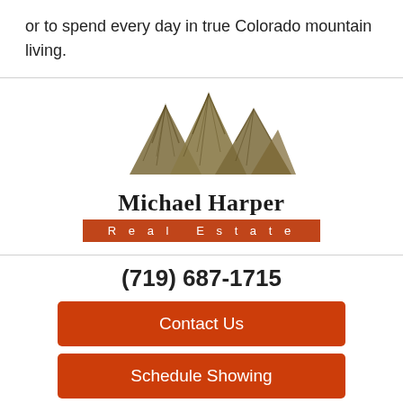or to spend every day in true Colorado mountain living.
[Figure (logo): Michael Harper Real Estate logo with mountain illustration above the name and an orange banner reading 'Real Estate']
(719) 687-1715
Contact Us
Schedule Showing